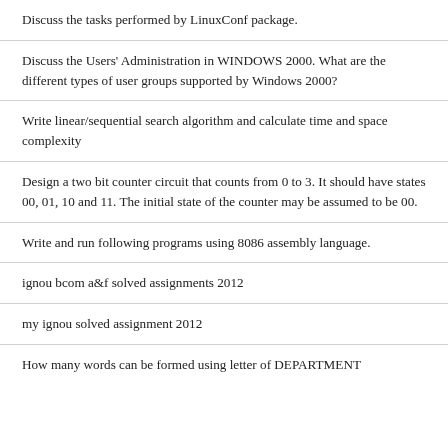Discuss the tasks performed by LinuxConf package.
Discuss the Users' Administration in WINDOWS 2000. What are the different types of user groups supported by Windows 2000?
Write linear/sequential search algorithm and calculate time and space complexity
Design a two bit counter circuit that counts from 0 to 3. It should have states 00, 01, 10 and 11. The initial state of the counter may be assumed to be 00.
Write and run following programs using 8086 assembly language.
ignou bcom a&f solved assignments 2012
my ignou solved assignment 2012
How many words can be formed using letter of DEPARTMENT